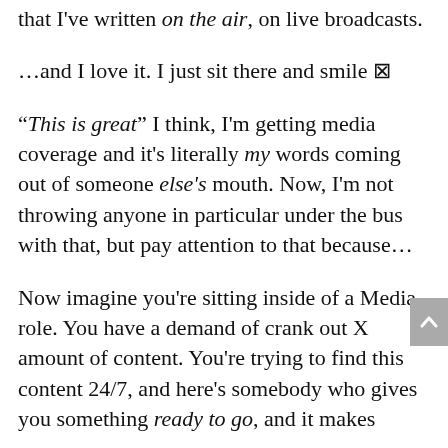that I've written on the air, on live broadcasts.
...and I love it. I just sit there and smile 🗷
"This is great" I think, I'm getting media coverage and it's literally my words coming out of someone else's mouth. Now, I'm not throwing anyone in particular under the bus with that, but pay attention to that because...
Now imagine you're sitting inside of a Media role. You have a demand of crank out X amount of content. You're trying to find this content 24/7, and here's somebody who gives you something ready to go, and it makes